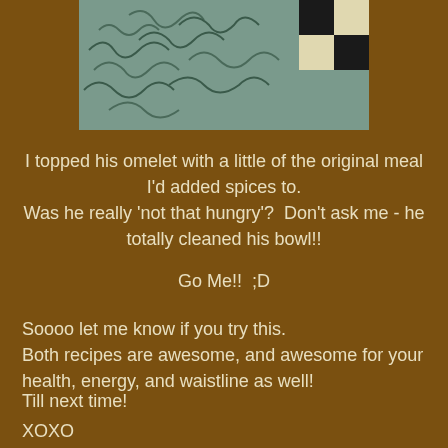[Figure (photo): Photo of food partially visible at top of page, showing a textured surface with squiggly line patterns in teal/gray tones and a black and white checkered pattern in the corner.]
I topped his omelet with a little of the original meal I'd added spices to.
Was he really ‘not that hungry’?  Don’t ask me - he totally cleaned his bowl!!
Go Me!!  ;D
Soooo let me know if you try this.
Both recipes are awesome, and awesome for your health, energy, and waistline as well!
Till next time!
XOXO
-Val!